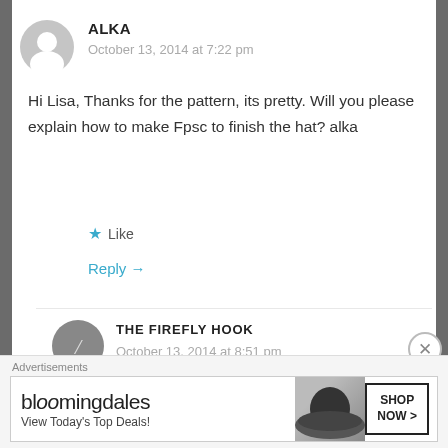ALKA
October 13, 2014 at 7:22 pm
Hi Lisa, Thanks for the pattern, its pretty. Will you please explain how to make Fpsc to finish the hat? alka
Like
Reply →
[Figure (illustration): User avatar placeholder — grey circle with white person silhouette]
THE FIREFLY HOOK
October 13, 2014 at 8:51 pm
[Figure (logo): Bloomingdales advertisement banner: 'bloomingdales / View Today's Top Deals!' with SHOP NOW > button and image of woman in wide-brim hat]
Advertisements